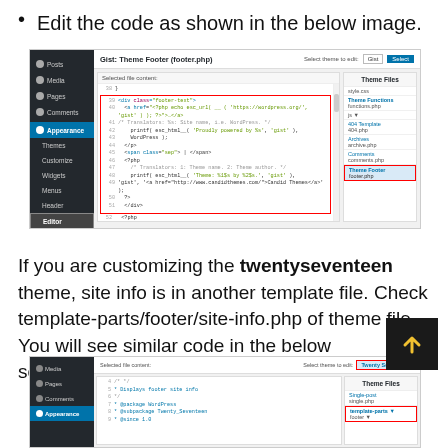Edit the code as shown in the below image.
[Figure (screenshot): WordPress theme editor screenshot showing Gist Theme Footer (footer.php) file with PHP code highlighted in a red box, and Theme Files sidebar with Theme Footer (footer.php) highlighted in red.]
If you are customizing the twentyseventeen theme, site info is in another template file. Check template-parts/footer/site-info.php of theme file. You will see similar code in the below screenshot.
[Figure (screenshot): WordPress theme editor screenshot showing twentyseventeen theme selected, with template-parts/footer section highlighted in red in the Theme Files panel.]